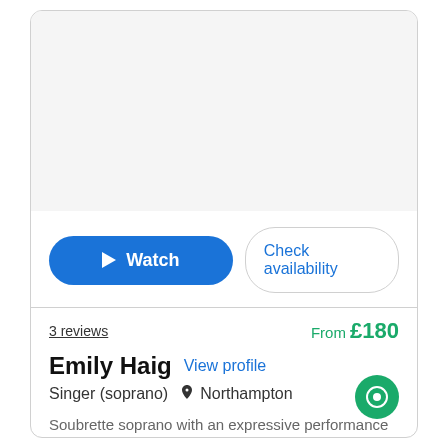[Figure (other): White/light grey image placeholder area at the top of the card]
[Figure (other): Two buttons: a blue 'Watch' button with play icon and a 'Check availability' outline button]
3 reviews
From £180
Emily Haig
View profile
Singer (soprano)  Northampton
Soubrette soprano with an expressive performance style and a contemporary look. Often on TV singing national anthem at Wembley/Silverstone.